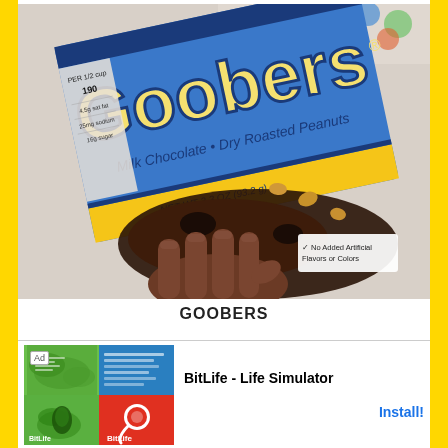[Figure (photo): A hand holding a box of Goobers candy — Milk Chocolate and Dry Roasted Peanuts, NET WT 3.3 OZ (93.2g), with colorful background at top.]
GOOBERS
[Figure (other): Advertisement banner for BitLife - Life Simulator app. Shows Ad tag, app icon images on left (green/blue/red cells with BitLife branding), and 'BitLife - Life Simulator' text with 'Install!' button on right.]